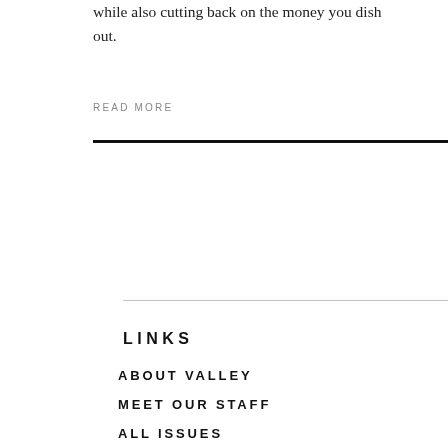while also cutting back on the money you dish out.
READ MORE
LINKS
ABOUT VALLEY
MEET OUR STAFF
ALL ISSUES